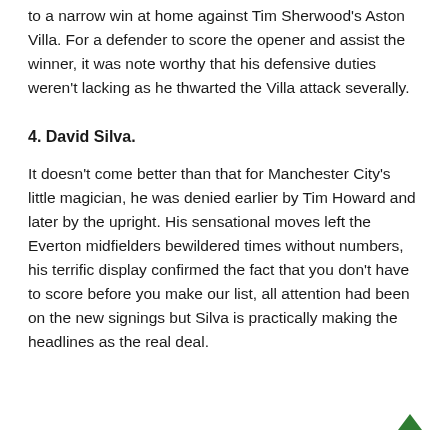to a narrow win at home against Tim Sherwood's Aston Villa. For a defender to score the opener and assist the winner, it was note worthy that his defensive duties weren't lacking as he thwarted the Villa attack severally.
4. David Silva.
It doesn't come better than that for Manchester City's little magician, he was denied earlier by Tim Howard and later by the upright. His sensational moves left the Everton midfielders bewildered times without numbers, his terrific display confirmed the fact that you don't have to score before you make our list, all attention had been on the new signings but Silva is practically making the headlines as the real deal.